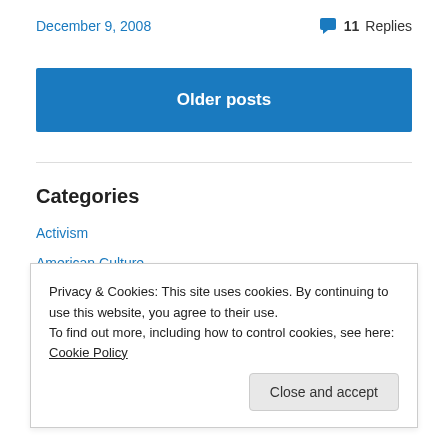December 9, 2008
💬 11 Replies
Older posts
Categories
Activism
American Culture
Blogging
Climate Research
Privacy & Cookies: This site uses cookies. By continuing to use this website, you agree to their use.
To find out more, including how to control cookies, see here: Cookie Policy
Close and accept
French Guitars